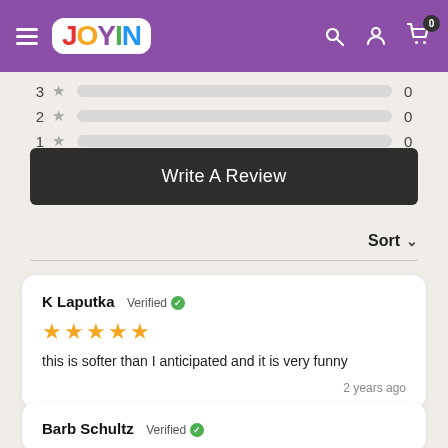JOYIN - navigation header with hamburger menu, search, account, and cart icons
| Stars | Bar | Count |
| --- | --- | --- |
| 3 ★ |  | 0 |
| 2 ★ |  | 0 |
| 1 ★ |  | 0 |
Write A Review
Sort
K Laputka  Verified ✓
★★★★★
this is softer than I anticipated and it is very funny
2 years ago
Barb Schultz  Verified ✓